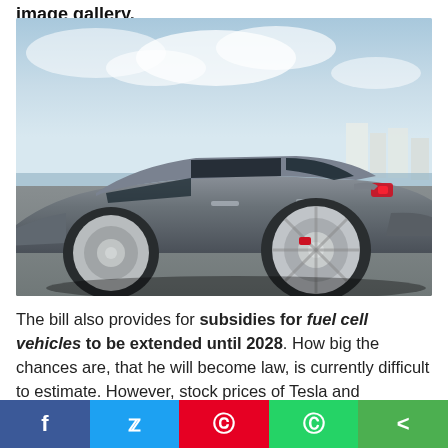image gallery.
[Figure (photo): Side profile of a dark grey Tesla electric car in motion on a highway, with a city skyline and cloudy blue sky in the background.]
The bill also provides for subsidies for fuel cell vehicles to be extended until 2028. How big the chances are, that he will become law, is currently difficult to estimate. However, stock prices of Tesla and
Facebook | Twitter | Pinterest | WhatsApp | Share